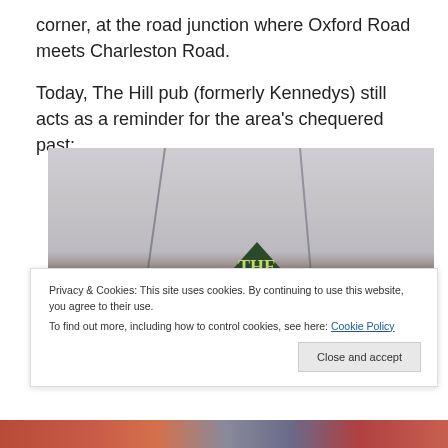corner, at the road junction where Oxford Road meets Charleston Road.
Today, The Hill pub (formerly Kennedys) still acts as a reminder for the area’s chequered past:
[Figure (photo): Photo of The Hill pub sign, showing a green triangular gable with 'THE Hill' lettering in yellow-green, with a brick chimney to the right, taken from below against a grey sky with power lines visible.]
Privacy & Cookies: This site uses cookies. By continuing to use this website, you agree to their use.
To find out more, including how to control cookies, see here: Cookie Policy
Close and accept